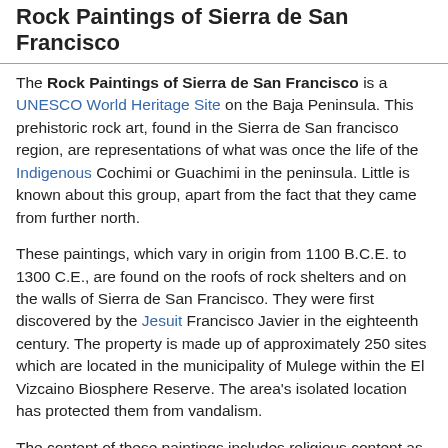Rock Paintings of Sierra de San Francisco
The Rock Paintings of Sierra de San Francisco is a UNESCO World Heritage Site on the Baja Peninsula. This prehistoric rock art, found in the Sierra de San francisco region, are representations of what was once the life of the Indigenous Cochimi or Guachimi in the peninsula. Little is known about this group, apart from the fact that they came from further north.
These paintings, which vary in origin from 1100 B.C.E. to 1300 C.E., are found on the roofs of rock shelters and on the walls of Sierra de San Francisco. They were first discovered by the Jesuit Francisco Javier in the eighteenth century. The property is made up of approximately 250 sites which are located in the municipality of Mulege within the El Vizcaino Biosphere Reserve. The area's isolated location has protected them from vandalism.
The content of these paintings includes religious content as well as weapons and animal species such as rabbit